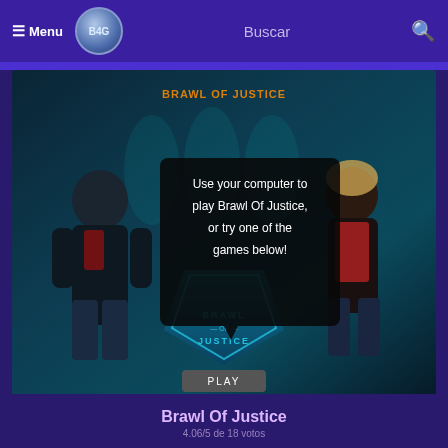☰ Menu   Buscar   🔍
[Figure (screenshot): Game screenshot for Brawl Of Justice showing two comic-style characters flanking a shield logo, with an overlay tooltip reading 'Use your computer to play Brawl Of Justice, or try one of the games below!' and a PLAY button at the bottom.]
Brawl Of Justice
4.06/5 de 18 votos